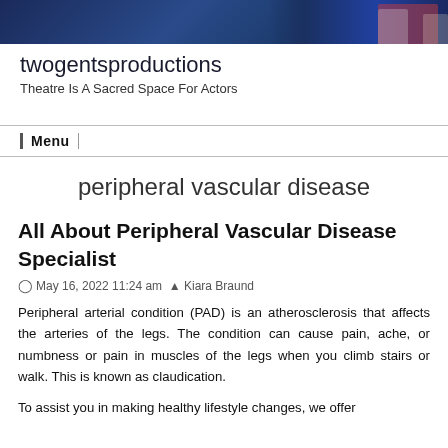[Figure (photo): Dark blue theatrical stage header image with performers in period costumes]
twogentsproductions
Theatre Is A Sacred Space For Actors
Menu
peripheral vascular disease
All About Peripheral Vascular Disease Specialist
May 16, 2022 11:24 am  Kiara Braund
Peripheral arterial condition (PAD) is an atherosclerosis that affects the arteries of the legs. The condition can cause pain, ache, or numbness or pain in muscles of the legs when you climb stairs or walk. This is known as claudication.
To assist you in making healthy lifestyle changes, we offer